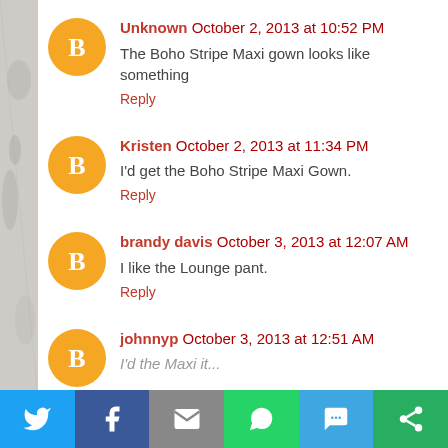Unknown October 2, 2013 at 10:52 PM — The Boho Stripe Maxi gown looks like something — Reply
Kristen October 2, 2013 at 11:34 PM — I'd get the Boho Stripe Maxi Gown. — Reply
brandy davis October 3, 2013 at 12:07 AM — I like the Lounge pant. — Reply
johnnyp October 3, 2013 at 12:51 AM — [truncated]